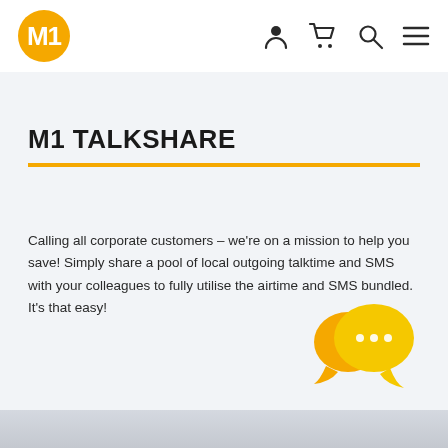M1 logo, navigation icons (user, cart, search, menu)
M1 TALKSHARE
Calling all corporate customers – we're on a mission to help you save! Simply share a pool of local outgoing talktime and SMS with your colleagues to fully utilise the airtime and SMS bundled. It's that easy!
[Figure (illustration): Two overlapping orange speech/chat bubble icons with ellipsis dots]